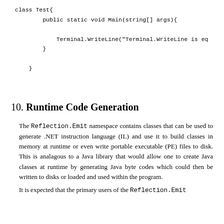class Test{
        public static void Main(string[] args){
            Terminal.WriteLine("Terminal.WriteLine is eq
        }
    }
10. Runtime Code Generation
The Reflection.Emit namespace contains classes that can be used to generate .NET instruction language (IL) and use it to build classes in memory at runtime or even write portable executable (PE) files to disk. This is analagous to a Java library that would allow one to create Java classes at runtime by generating Java byte codes which could then be written to disks or loaded and used within the program.
It is expected that the primary users of the Reflection.Emit